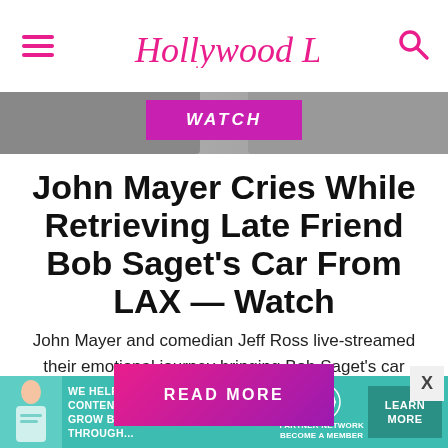Hollywood Life
[Figure (photo): Hero image strip showing faces of people, with a magenta WATCH badge overlaid in the center]
John Mayer Cries While Retrieving Late Friend Bob Saget's Car From LAX — Watch
John Mayer and comedian Jeff Ross live-streamed their emotional journey bringing Bob Saget's car home from the airport. They talked fondly of the late actor and his 'universal love'.
READ MORE
[Figure (infographic): Teal advertisement banner: 'WE HELP CONTENT CREATORS GROW BUSINESSES THROUGH...' with SHE Partner Network logo and LEARN MORE button]